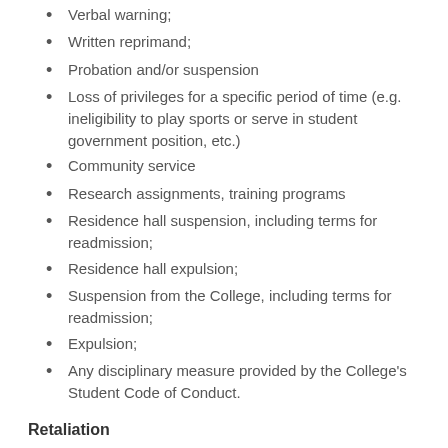Verbal warning;
Written reprimand;
Probation and/or suspension
Loss of privileges for a specific period of time (e.g. ineligibility to play sports or serve in student government position, etc.)
Community service
Research assignments, training programs
Residence hall suspension, including terms for readmission;
Residence hall expulsion;
Suspension from the College, including terms for readmission;
Expulsion;
Any disciplinary measure provided by the College's Student Code of Conduct.
Retaliation
Retaliation against a person who complains of sexual harassment is prohibited and constitutes a violation of